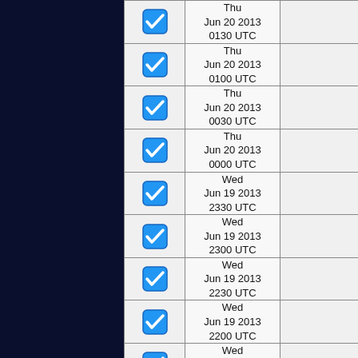|  | Date/Time |  |
| --- | --- | --- |
| ☑ | Thu
Jun 20 2013
0130 UTC |  |
| ☑ | Thu
Jun 20 2013
0100 UTC |  |
| ☑ | Thu
Jun 20 2013
0030 UTC |  |
| ☑ | Thu
Jun 20 2013
0000 UTC |  |
| ☑ | Wed
Jun 19 2013
2330 UTC |  |
| ☑ | Wed
Jun 19 2013
2300 UTC |  |
| ☑ | Wed
Jun 19 2013
2230 UTC |  |
| ☑ | Wed
Jun 19 2013
2200 UTC |  |
| ☑ | Wed
Jun 19 2013
2130 UTC |  |
| ☑ | Wed
... |  |